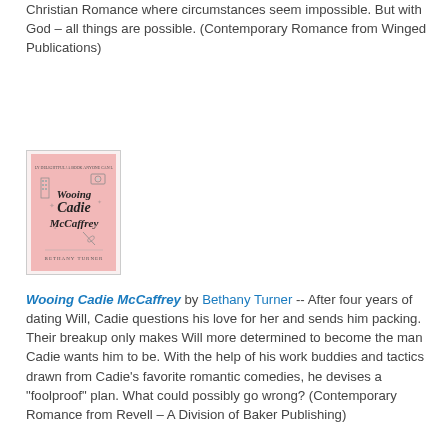Christian Romance where circumstances seem impossible. But with God – all things are possible. (Contemporary Romance from Winged Publications)
[Figure (illustration): Book cover for 'Wooing Cadie McCaffrey' by Bethany Turner, pink background with illustrated title text and small drawings]
Wooing Cadie McCaffrey by Bethany Turner -- After four years of dating Will, Cadie questions his love for her and sends him packing. Their breakup only makes Will more determined to become the man Cadie wants him to be. With the help of his work buddies and tactics drawn from Cadie's favorite romantic comedies, he devises a "foolproof" plan. What could possibly go wrong? (Contemporary Romance from Revell – A Division of Baker Publishing)